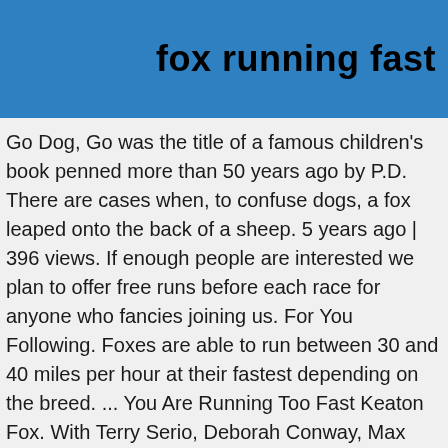fox running fast
Go Dog, Go was the title of a famous children's book penned more than 50 years ago by P.D. There are cases when, to confuse dogs, a fox leaped onto the back of a sheep. 5 years ago | 396 views. If enough people are interested we plan to offer free runs before each race for anyone who fancies joining us. For You Following. Foxes are able to run between 30 and 40 miles per hour at their fastest depending on the breed. ... You Are Running Too Fast Keaton Fox. With Terry Serio, Deborah Conway, Max Cullen, Richard Moir. The Fox On The Run is on Saturday September 12, 2020. Browse more videos. Foxes are famous for the cunning with which they avoid traps, and where they are hunted with dogs – their ability to confuse hounds. Download now! 783 likes. There's also a chance to join in with numerous fun and free (or at ... Smooth Fox Terrier is running on a flat snow